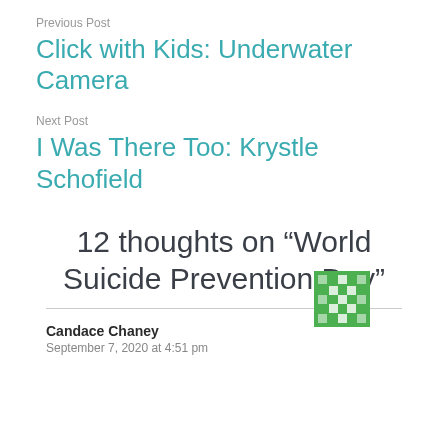Previous Post
Click with Kids: Underwater Camera
Next Post
I Was There Too: Krystle Schofield
12 thoughts on “World Suicide Prevention Day”
Candace Chaney
September 7, 2020 at 4:51 pm